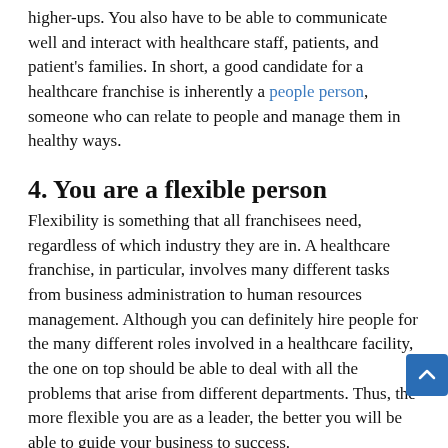higher-ups. You also have to be able to communicate well and interact with healthcare staff, patients, and patient's families. In short, a good candidate for a healthcare franchise is inherently a people person, someone who can relate to people and manage them in healthy ways.
4. You are a flexible person
Flexibility is something that all franchisees need, regardless of which industry they are in. A healthcare franchise, in particular, involves many different tasks from business administration to human resources management. Although you can definitely hire people for the many different roles involved in a healthcare facility, the one on top should be able to deal with all the problems that arise from different departments. Thus, the more flexible you are as a leader, the better you will be able to guide your business to success.
5. You are empathic